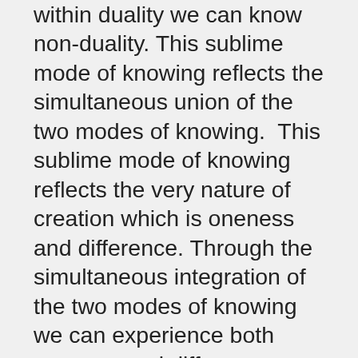within duality we can know non-duality. This sublime mode of knowing reflects the simultaneous union of the two modes of knowing.  This sublime mode of knowing reflects the very nature of creation which is oneness and difference. Through the simultaneous integration of the two modes of knowing we can experience both oneness and difference through our experience of appearance. Furthermore this sublime knowing is an action and so in respect to this knowing the Hindu Shavite masters would declare “knowledge is action”. This sublime form of knowingness manifests the action within duality while arising and emerging from within the dimension of non-duality. The action emerges out of